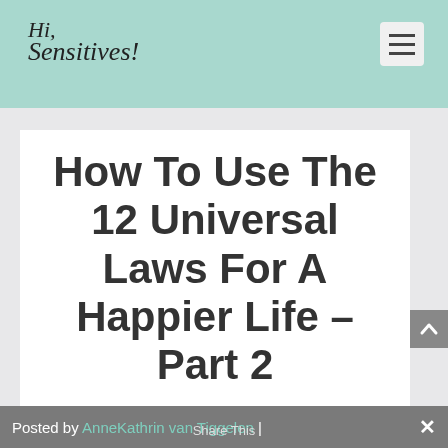Hi, Sensitives!
How To Use The 12 Universal Laws For A Happier Life – Part 2
Posted by AnneKathrin van Tiggelen | Share This ×